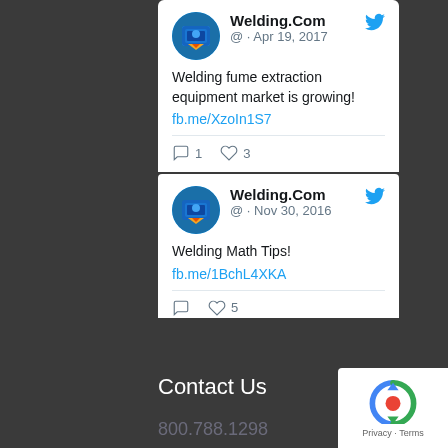[Figure (screenshot): Twitter/social media feed showing tweets from Welding.Com account. First tweet dated Apr 19, 2017: 'Welding fume extraction equipment market is growing! fb.me/XzoIn1S7' with 1 reply and 3 likes. Second tweet dated Nov 30, 2016: 'Welding Math Tips! fb.me/1BchL4XKA' with 0 replies and 5 likes. Third tweet partially visible dated Nov 9, 2016.]
Contact Us
800.788.1298